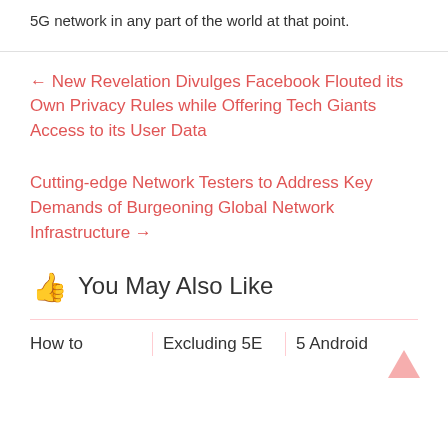5G network in any part of the world at that point.
← New Revelation Divulges Facebook Flouted its Own Privacy Rules while Offering Tech Giants Access to its User Data
Cutting-edge Network Testers to Address Key Demands of Burgeoning Global Network Infrastructure →
👍 You May Also Like
How to
Excluding 5E
5 Android